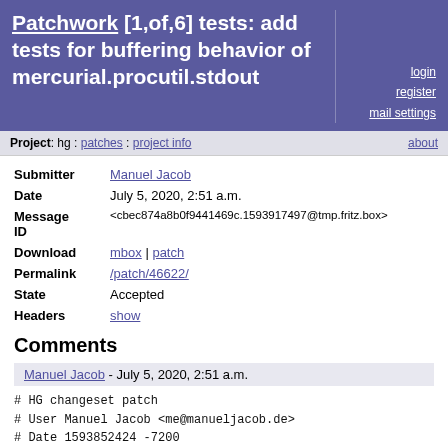Patchwork [1,of,6] tests: add tests for buffering behavior of mercurial.procutil.stdout
login register mail settings
Project: hg : patches : project info | about
| Field | Value |
| --- | --- |
| Submitter | Manuel Jacob |
| Date | July 5, 2020, 2:51 a.m. |
| Message ID | <cbec874a8b0f9441469c.1593917497@tmp.fritz.box> |
| Download | mbox | patch |
| Permalink | /patch/46622/ |
| State | Accepted |
| Headers | show |
Comments
Manuel Jacob - July 5, 2020, 2:51 a.m.
# HG changeset patch
# User Manuel Jacob <me@manueljacob.de>
# Date 1593852424 -7200